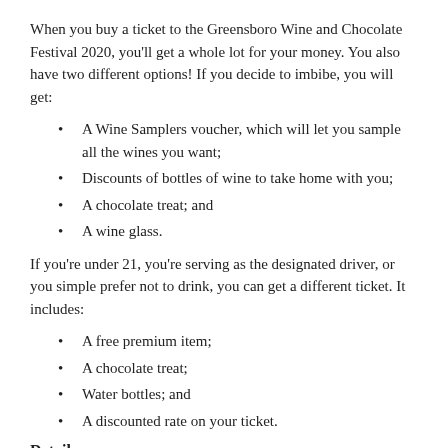When you buy a ticket to the Greensboro Wine and Chocolate Festival 2020, you'll get a whole lot for your money. You also have two different options! If you decide to imbibe, you will get:
A Wine Samplers voucher, which will let you sample all the wines you want;
Discounts of bottles of wine to take home with you;
A chocolate treat; and
A wine glass.
If you're under 21, you're serving as the designated driver, or you simple prefer not to drink, you can get a different ticket. It includes:
A free premium item;
A chocolate treat;
Water bottles; and
A discounted rate on your ticket.
Details